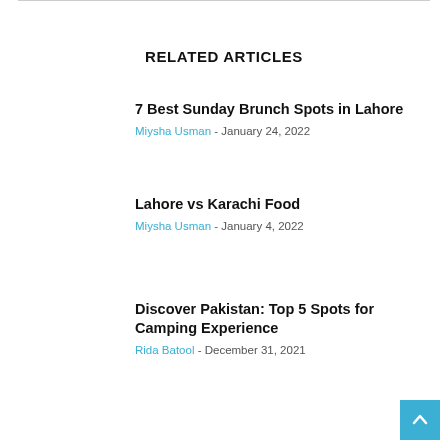RELATED ARTICLES
7 Best Sunday Brunch Spots in Lahore
Miysha Usman - January 24, 2022
Lahore vs Karachi Food
Miysha Usman - January 4, 2022
Discover Pakistan: Top 5 Spots for Camping Experience
Rida Batool - December 31, 2021